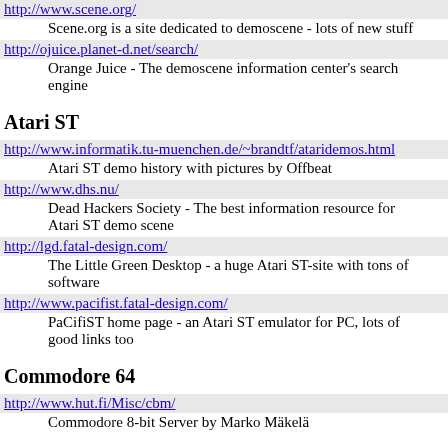http://www.scene.org/
        Scene.org is a site dedicated to demoscene - lots of new stuff
http://ojuice.planet-d.net/search/
        Orange Juice - The demoscene information center's search engine
Atari ST
http://www.informatik.tu-muenchen.de/~brandtf/ataridemos.html
        Atari ST demo history with pictures by Offbeat
http://www.dhs.nu/
        Dead Hackers Society - The best information resource for Atari ST demo scene
http://lgd.fatal-design.com/
        The Little Green Desktop - a huge Atari ST-site with tons of software
http://www.pacifist.fatal-design.com/
        PaCifiST home page - an Atari ST emulator for PC, lots of good links too
Commodore 64
http://www.hut.fi/Misc/cbm/
        Commodore 8-bit Server by Marko Mäkelä